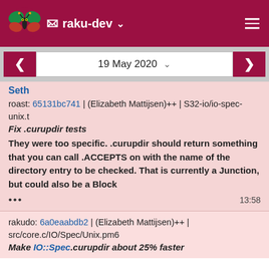raku-dev
19 May 2020
Seth
roast: 65131bc741 | (Elizabeth Mattijsen)++ | S32-io/io-spec-unix.t
Fix .curupdir tests
They were too specific. .curupdir should return something that you can call .ACCEPTS on with the name of the directory entry to be checked. That is currently a Junction, but could also be a Block
... 13:58
rakudo: 6a0eaabdb2 | (Elizabeth Mattijsen)++ | src/core.c/IO/Spec/Unix.pm6
Make IO::Spec.curupdir about 25% faster